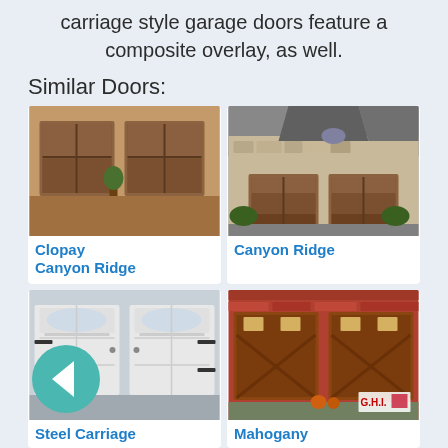carriage style garage doors feature a composite overlay, as well.
Similar Doors:
[Figure (photo): Wooden carriage style garage door on a beige house, double door view]
[Figure (photo): Wooden garage doors on a stone house facade, Canyon Ridge style]
Clopay Canyon Ridge
Canyon Ridge
[Figure (photo): White steel carriage style garage door with arched windows and decorative hardware]
[Figure (photo): Mahogany wood garage doors with X pattern and small windows, GHI logo]
Steel Carriage
Mahogany